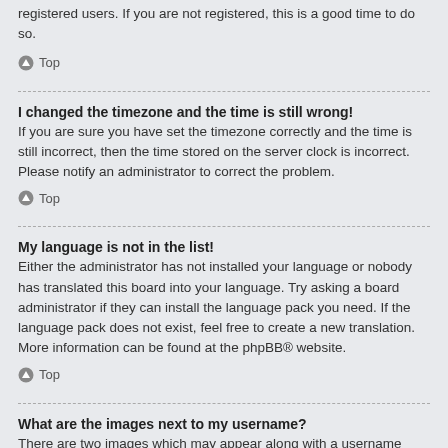registered users. If you are not registered, this is a good time to do so.
⌃ Top
I changed the timezone and the time is still wrong!
If you are sure you have set the timezone correctly and the time is still incorrect, then the time stored on the server clock is incorrect. Please notify an administrator to correct the problem.
⌃ Top
My language is not in the list!
Either the administrator has not installed your language or nobody has translated this board into your language. Try asking a board administrator if they can install the language pack you need. If the language pack does not exist, feel free to create a new translation. More information can be found at the phpBB® website.
⌃ Top
What are the images next to my username?
There are two images which may appear along with a username when viewing posts. One of them may be an image associated with your rank, generally in the form of stars, blocks or dots, indicating how many posts you have made or your status on the board. Another, usually larger, image is known as an avatar and is generally unique or personal to each user.